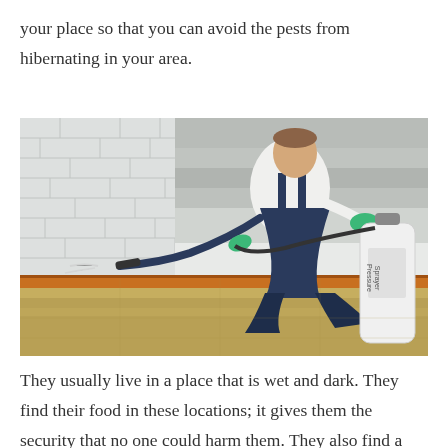your place so that you can avoid the pests from hibernating in your area.
[Figure (photo): A pest control technician wearing blue overalls and green gloves, crouching and using a pressure sprayer to spray along the baseboard of a wall. A white pressure sprayer container is visible on the right side. The floor appears to be hardwood and the wall is white brick.]
They usually live in a place that is wet and dark. They find their food in these locations; it gives them the security that no one could harm them. They also find a shelter where they can lay eggs and reproduce more. Of course you must ensure that they use different